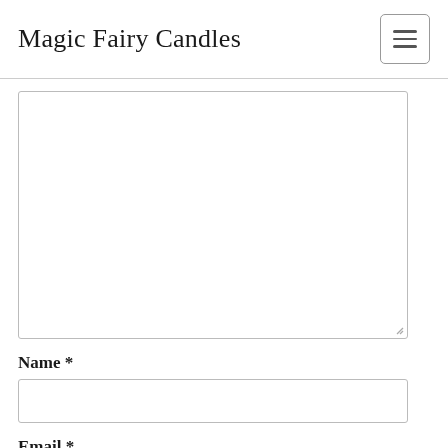Magic Fairy Candles
[Figure (other): Large empty textarea input field]
Name *
[Figure (other): Name text input field]
Email *
[Figure (other): Email text input field]